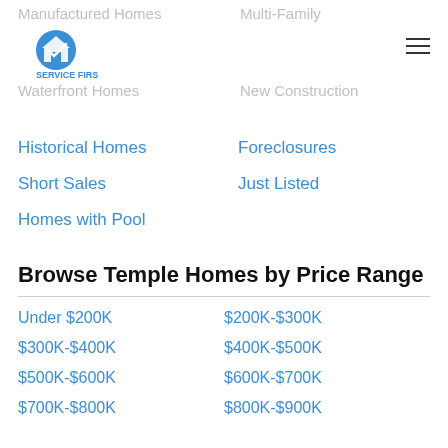Manufactured Homes | Multi-Family | Waterfront Homes | New Construction
Historical Homes
Foreclosures
Short Sales
Just Listed
Homes with Pool
Browse Temple Homes by Price Range
Under $200K
$200K-$300K
$300K-$400K
$400K-$500K
$500K-$600K
$600K-$700K
$700K-$800K
$800K-$900K